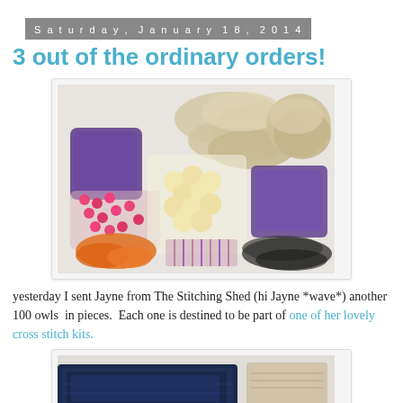Saturday, January 18, 2014
3 out of the ordinary orders!
[Figure (photo): Craft supplies laid out on a white surface: bags of beads, heart-shaped felt pieces in cream and natural tones, purple fabric/felt pieces, pink buttons, orange pieces, black beads, and striped fabric - all components for owl craft kits.]
yesterday I sent Jayne from The Stitching Shed (hi Jayne *wave*) another 100 owls  in pieces.  Each one is destined to be part of one of her lovely cross stitch kits.
[Figure (photo): Folded dark navy blue fabric or felt material, partially visible at bottom of the page.]